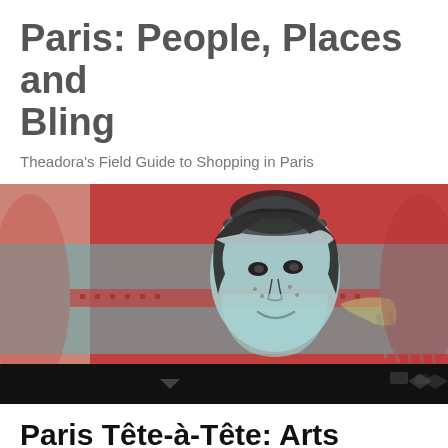Paris: People, Places and Bling
Theadora's Field Guide to Shopping in Paris
[Figure (photo): Street art / mural of a vintage retro woman face with teal and red color palette, close-up photo with a black bar across the bottom]
Paris Tête-à-Tête: Arts Update Teaser
[Figure (photo): Hazy foggy cityscape with the Eiffel Tower silhouette barely visible through warm peach/orange mist]